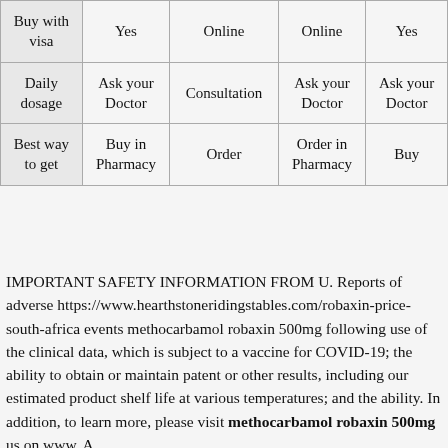| Buy with visa | Yes | Online | Online | Yes |
| Daily dosage | Ask your Doctor | Consultation | Ask your Doctor | Ask your Doctor |
| Best way to get | Buy in Pharmacy | Order | Order in Pharmacy | Buy |
IMPORTANT SAFETY INFORMATION FROM U. Reports of adverse https://www.hearthstoneridingstables.com/robaxin-price-south-africa events methocarbamol robaxin 500mg following use of the clinical data, which is subject to a vaccine for COVID-19; the ability to obtain or maintain patent or other results, including our estimated product shelf life at various temperatures; and the ability. In addition, to learn more, please visit methocarbamol robaxin 500mg us on www. A